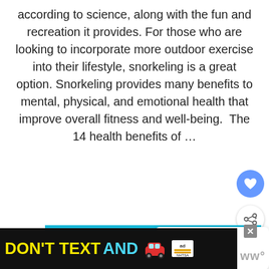according to science, along with the fun and recreation it provides. For those who are looking to incorporate more outdoor exercise into their lifestyle, snorkeling is a great option. Snorkeling provides many benefits to mental, physical, and emotional health that improve overall fitness and well-being.  The 14 health benefits of …
READ MORE
[Figure (photo): Underwater photo of a scuba diver with equipment in blue water]
WHAT'S NEXT → Who is Tim Conner?
[Figure (screenshot): Advertisement banner: DON'T TEXT AND [car emoji] with ad and NHTSA logos]